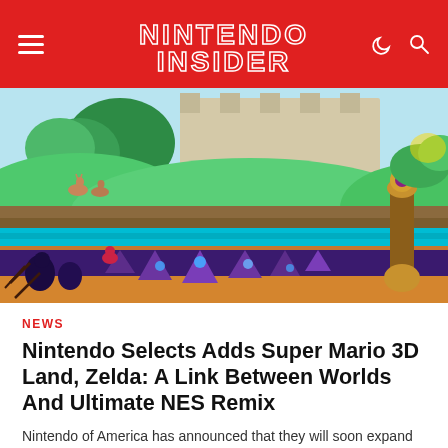NINTENDO INSIDER
[Figure (illustration): Game artwork showing a fantasy landscape from The Legend of Zelda: A Link Between Worlds, depicting a bright overworld with green hills, trees, deer, a teal river, and a dark mirror underworld with purple spires below, and a character's arm holding a golden item on the right side.]
NEWS
Nintendo Selects Adds Super Mario 3D Land, Zelda: A Link Between Worlds And Ultimate NES Remix
Nintendo of America has announced that they will soon expand the Nintendo Selects range for Nintendo 3DS with...